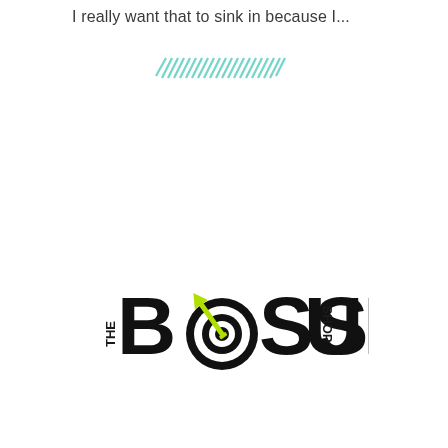I really want that to sink in because I...
[Figure (illustration): Teal/mint colored diagonal hatching squiggle line decoration]
[Figure (logo): THE BOSS UP SHOP logo with target/bullseye icon replacing the O in BOSS, and a yellow-green dart arrow. Large bold black text.]